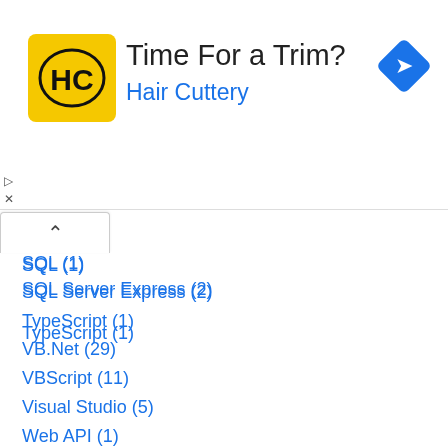[Figure (logo): Hair Cuttery advertisement banner with HC logo, text 'Time For a Trim?' and 'Hair Cuttery', and a blue diamond navigation icon]
SQL (1)
SQL Server Express (2)
TypeScript (1)
VB.Net (29)
VBScript (11)
Visual Studio (5)
Web API (1)
WebGrid (16)
WebMatrix (80)
Archive
2022
August 2022 (1)